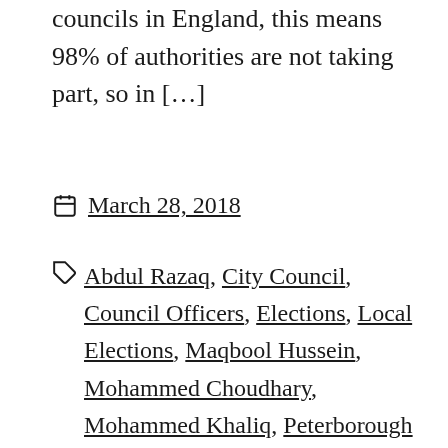councils in England, this means 98% of authorities are not taking part, so in […]
March 28, 2018
Abdul Razaq, City Council, Council Officers, Elections, Local Elections, Maqbool Hussein, Mohammed Choudhary, Mohammed Khaliq, Peterborough Telegraph, photographic identification, polling stations, postal voters, proxy voters, Raja Akhtar, Tariq Mahood, Voting Fraud